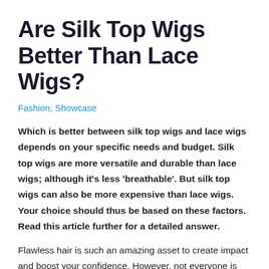Are Silk Top Wigs Better Than Lace Wigs?
Fashion, Showcase
Which is better between silk top wigs and lace wigs depends on your specific needs and budget. Silk top wigs are more versatile and durable than lace wigs; although it's less 'breathable'. But silk top wigs can also be more expensive than lace wigs. Your choice should thus be based on these factors. Read this article further for a detailed answer.
Flawless hair is such an amazing asset to create impact and boost your confidence. However, not everyone is blessed with hair that they like. Hair wigs are a perfect alternative to help you in such cases.
The use of wigs isn't a recent trend. There are records of wigs